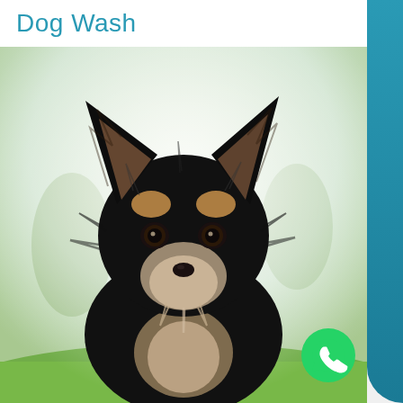Dog Wash
[Figure (photo): Close-up photo of a long-haired Chihuahua dog with black and tan coloring, large ears, dark eyes, and fluffy fur, posed against a soft misty green outdoor background with grass and trees.]
[Figure (logo): WhatsApp logo — white phone handset icon on a green circle background, located in the bottom-right corner of the page.]